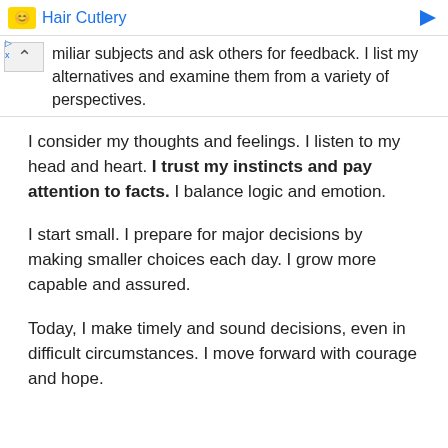[Figure (screenshot): Ad banner for Hair Cutlery with yellow logo and blue arrow]
miliar subjects and ask others for feedback. I list my alternatives and examine them from a variety of perspectives.
I consider my thoughts and feelings. I listen to my head and heart. I trust my instincts and pay attention to facts. I balance logic and emotion.
I start small. I prepare for major decisions by making smaller choices each day. I grow more capable and assured.
Today, I make timely and sound decisions, even in difficult circumstances. I move forward with courage and hope.